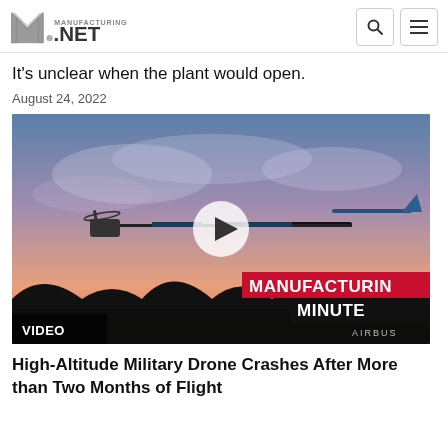Manufacturing.NET
It's unclear when the plant would open.
August 24, 2022
[Figure (screenshot): Video thumbnail showing a high-altitude drone (Airbus Zephyr) in flight against a sunset sky, with a play button overlay and 'MANUFACTURING MINUTE / AIRBUS' branding in the lower right corner. A 'VIDEO' label appears in the lower left.]
High-Altitude Military Drone Crashes After More than Two Months of Flight